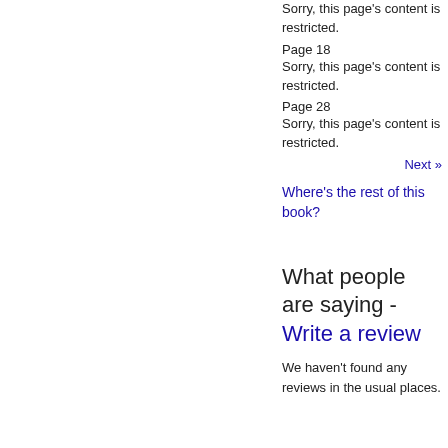Sorry, this page's content is restricted.
Page 18
Sorry, this page's content is restricted.
Page 28
Sorry, this page's content is restricted.
Next »
Where's the rest of this book?
What people are saying - Write a review
We haven't found any reviews in the usual places.